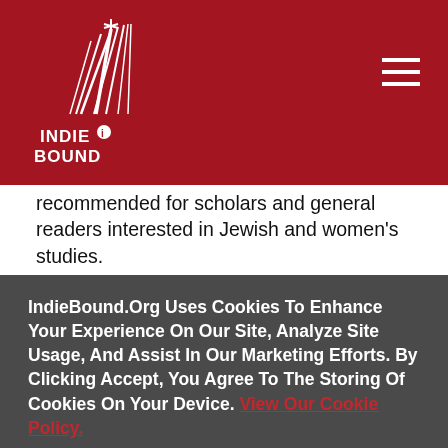[Figure (logo): IndieBound logo - white stylized book/feather graphic with INDIE BOUND text in white on red background]
recommended for scholars and general readers interested in Jewish and women's studies.
Wayne State University Press, 9780814345108, 538pp.
Publication Date: March 10, 2020
IndieBound.Org Uses Cookies To Enhance Your Experience On Our Site, Analyze Site Usage, And Assist In Our Marketing Efforts. By Clicking Accept, You Agree To The Storing Of Cookies On Your Device. View Our Cookie Policy.
Give me more info
Accept all Cookies